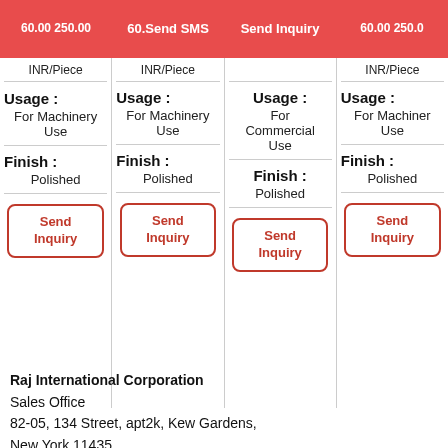60.00 250.00 | 60. Send SMS | Send Inquiry | 60.00 250.00
INR/Piece | INR/Piece | INR/Piece
Usage : For Machinery Use | Usage : For Machinery Use | Usage : For Commercial Use | Usage : For Machinery Use
Finish : Polished | Finish : Polished | Finish : Polished | Finish : Polished
Send Inquiry (x4)
Raj International Corporation
Sales Office
82-05, 134 Street, apt2k, Kew Gardens,
New York 11435
United States of America